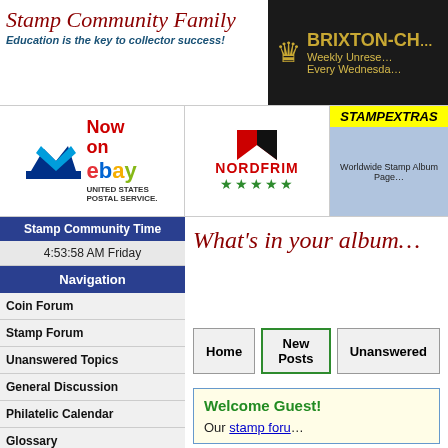Stamp Community Family
Education is the key to collector success!
[Figure (logo): Brixton-Ch... logo on black background with crown icon, Weekly Unreserved Every Wednesday]
[Figure (logo): United States Postal Service - Now on eBay advertisement]
[Figure (logo): Nordfrim logo with 5 green stars]
[Figure (logo): StampExtras - Worldwide Stamp Album Pages]
Stamp Community Time
4:53:58 AM Friday
Navigation
Coin Forum
Stamp Forum
Unanswered Topics
General Discussion
Philatelic Calendar
Glossary
What Our Members Collect
Contact Us
Advertise Here
SCF Reccomended
What's in your album
Home | New Posts | Unanswered
Welcome Guest! Our stamp foru...